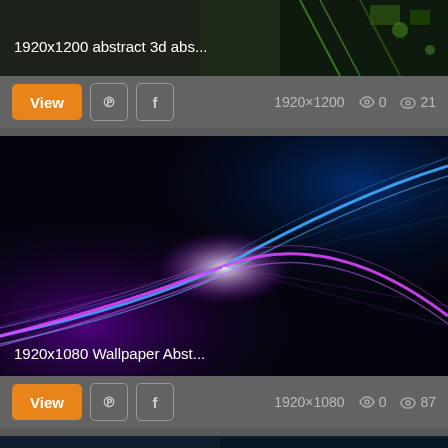[Figure (screenshot): Top partial image: abstract 3D tech/circuit board dark green image, partially visible at top]
1920x1200 abstract 3d abs...
View | Pinterest | Facebook | 1920×1200 | ♡ 0 | 👁 21
[Figure (photo): Wallpaper: abstract neon light waves — blue and purple/magenta glowing curves crossing on black background]
1920x1080 Wallpaper Abst...
View | Pinterest | Facebook | 1920×1080 | ♡ 0 | 👁 87
[Figure (photo): Bottom partial image: another abstract wallpaper, partially visible]